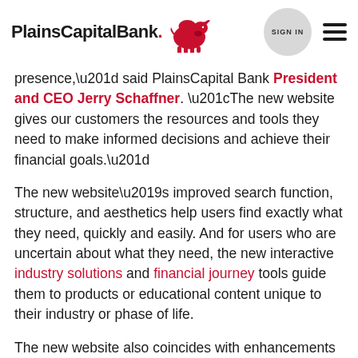PlainsCapital Bank [logo with bison] | SIGN IN | menu
presence,” said PlainsCapital Bank President and CEO Jerry Schaffner. “The new website gives our customers the resources and tools they need to make informed decisions and achieve their financial goals.”
The new website’s improved search function, structure, and aesthetics help users find exactly what they need, quickly and easily. And for users who are uncertain about what they need, the new interactive industry solutions and financial journey tools guide them to products or educational content unique to their industry or phase of life.
The new website also coincides with enhancements to various account-opening platforms made earlier this year. With the new platforms, customers are now able to open